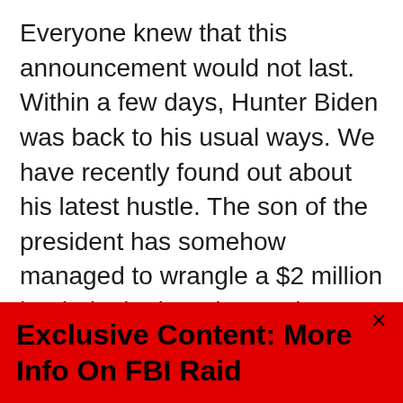Everyone knew that this announcement would not last. Within a few days, Hunter Biden was back to his usual ways. We have recently found out about his latest hustle. The son of the president has somehow managed to wrangle a $2 million book deal. The advance has already been paid and this must be a nice chunk of change for him.
The Daily Mail has more about the memoir and it is every bit as lurid as you would expect. It reads like something out of a bad movie that you'd find on Netflix or Amazon Prize. Unfortunately, these are things that is...
Exclusive Content: More Info On FBI Raid